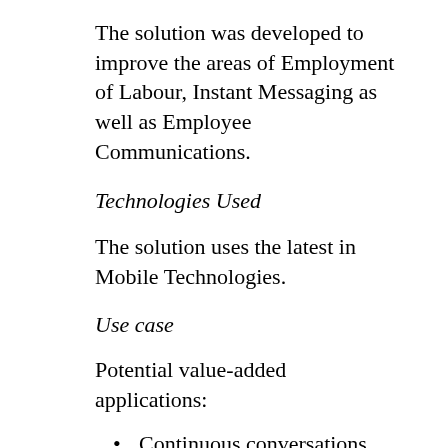The solution was developed to improve the areas of Employment of Labour, Instant Messaging as well as Employee Communications.
Technologies Used
The solution uses the latest in Mobile Technologies.
Use case
Potential value-added applications:
Continuous conversations between project management teams, external suppliers/vendors, government departments/regulatory institutions and customers.
Improved control and visibility of project...